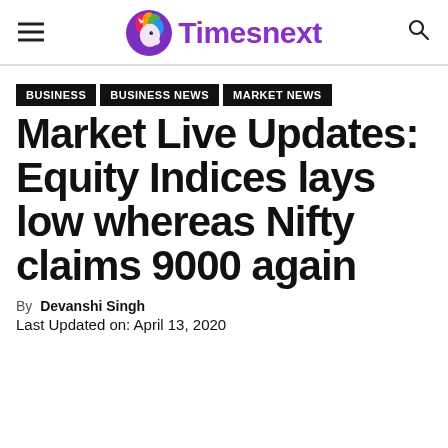Timesnext
BUSINESS | BUSINESS NEWS | MARKET NEWS
Market Live Updates: Equity Indices lays low whereas Nifty claims 9000 again
By Devanshi Singh
Last Updated on: April 13, 2020